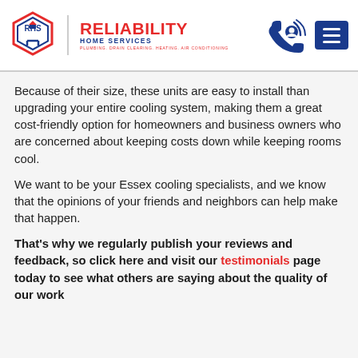[Figure (logo): Reliability Home Services logo with hexagon badge showing RHS, red RELIABILITY text, blue HOME SERVICES subtext, and tagline PLUMBING, DRAIN CLEARING, HEATING, AIR CONDITIONING]
Because of their size, these units are easy to install than upgrading your entire cooling system, making them a great cost-friendly option for homeowners and business owners who are concerned about keeping costs down while keeping rooms cool.
We want to be your Essex cooling specialists, and we know that the opinions of your friends and neighbors can help make that happen.
That's why we regularly publish your reviews and feedback, so click here and visit our testimonials page today to see what others are saying about the quality of our work.